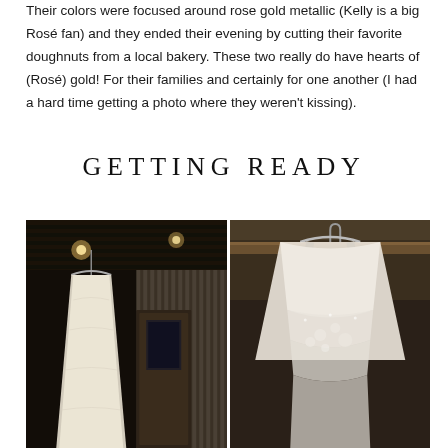Their colors were focused around rose gold metallic (Kelly is a big Rosé fan) and they ended their evening by cutting their favorite doughnuts from a local bakery. These two really do have hearts of (Rosé) gold! For their families and certainly for one another (I had a hard time getting a photo where they weren't kissing).
GETTING READY
[Figure (photo): Two side-by-side black and white photos of a wedding dress hanging. Left photo shows the full dress hanging in a rustic venue with corrugated metal walls and warm ceiling lights. Right photo shows a close-up of the dress on a hanger with lace and floral detail visible.]